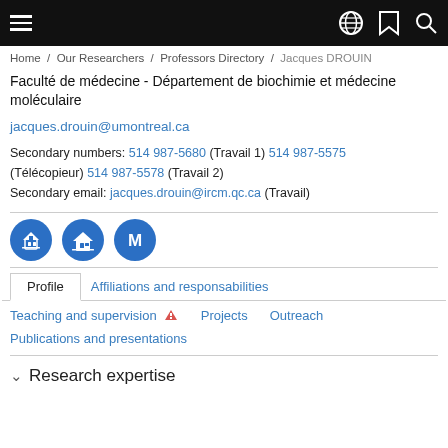Navigation header with menu, globe, bookmark, and search icons
Home / Our Researchers / Professors Directory / Jacques DROUIN
Faculté de médecine - Département de biochimie et médecine moléculaire
jacques.drouin@umontreal.ca
Secondary numbers: 514 987-5680 (Travail 1) 514 987-5575 (Télécopieur) 514 987-5578 (Travail 2)
Secondary email: jacques.drouin@ircm.qc.ca (Travail)
[Figure (infographic): Three blue circular icons representing institutional affiliations]
Profile | Affiliations and responsabilities
Teaching and supervision | Projects | Outreach
Publications and presentations
Research expertise